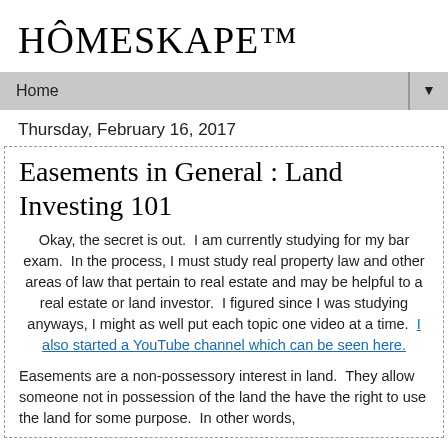HÔMESKAPE™
Home ▼
Thursday, February 16, 2017
Easements in General : Land Investing 101
Okay, the secret is out.  I am currently studying for my bar exam.  In the process, I must study real property law and other areas of law that pertain to real estate and may be helpful to a real estate or land investor.  I figured since I was studying anyways, I might as well put each topic one video at a time.  I also started a YouTube channel which can be seen here.
Easements are a non-possessory interest in land.  They allow someone not in possession of the land the have the right to use the land for some purpose.  In other words,